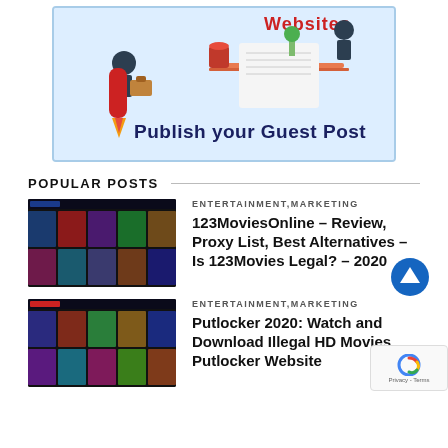[Figure (illustration): Promotional banner with illustration of person on rocket and person at desk, with text 'Publish your Guest Post'. Light blue background with border.]
POPULAR POSTS
[Figure (screenshot): Thumbnail screenshot of a movie streaming website showing a grid of movie posters on dark background]
ENTERTAINMENT,MARKETING
123MoviesOnline – Review, Proxy List, Best Alternatives – Is 123Movies Legal? – 2020
[Figure (screenshot): Thumbnail screenshot of another movie streaming website showing a grid of movie posters]
ENTERTAINMENT,MARKETING
Putlocker 2020: Watch and Download Illegal HD Movies Putlocker Website